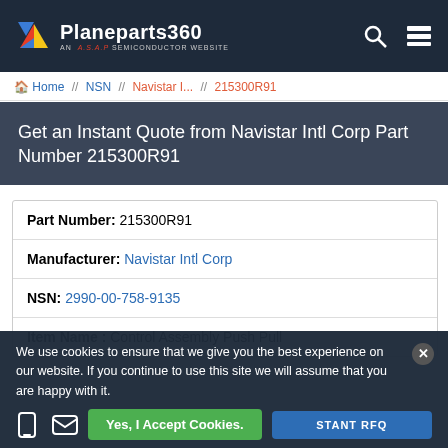Planeparts360 — AN A.S.A.P SEMICONDUCTOR WEBSITE
Home // NSN // Navistar I... // 215300R91
Get an Instant Quote from Navistar Intl Corp Part Number 215300R91
| Field | Value |
| --- | --- |
| Part Number: | 215300R91 |
| Manufacturer: | Navistar Intl Corp |
| NSN: | 2990-00-758-9135 |
| Item Name: | Control Assembly Push Pull |
| CAGE Code: | 89346 |
We use cookies to ensure that we give you the best experience on our website. If you continue to use this site we will assume that you are happy with it.